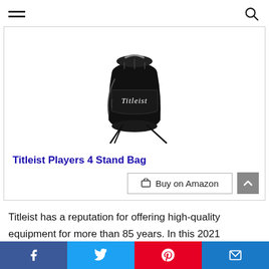[hamburger menu] [search icon]
[Figure (photo): Black Titleist Players 4 Stand Bag golf bag with two stand legs extended, shown on white background]
Titleist Players 4 Stand Bag
Buy on Amazon
Titleist has a reputation for offering high-quality equipment for more than 85 years. In this 2021
Facebook | Twitter | Pinterest | Email social sharing bar